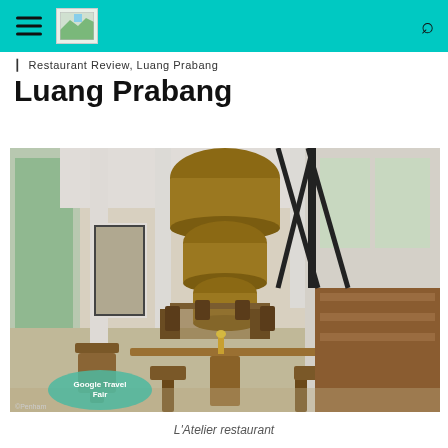Luang Prabang
[Figure (photo): Interior of L'Atelier restaurant in Luang Prabang: dining room with wooden tables and chairs, large pendant wicker lamps hanging from coffered ceiling, floor-to-ceiling windows, and decorative lattice screen on right side.]
L'Atelier restaurant